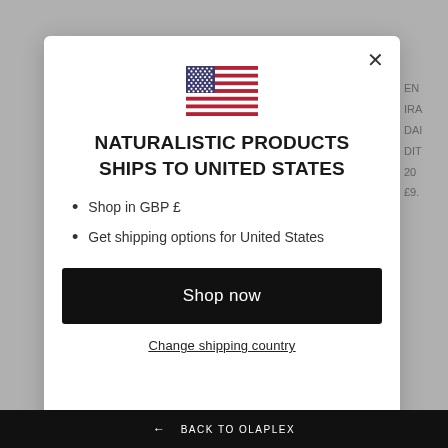[Figure (illustration): US flag SVG icon centered in modal]
NATURALISTIC PRODUCTS SHIPS TO UNITED STATES
Shop in GBP £
Get shipping options for United States
Shop now
Change shipping country
← BACK TO OLAPLEX